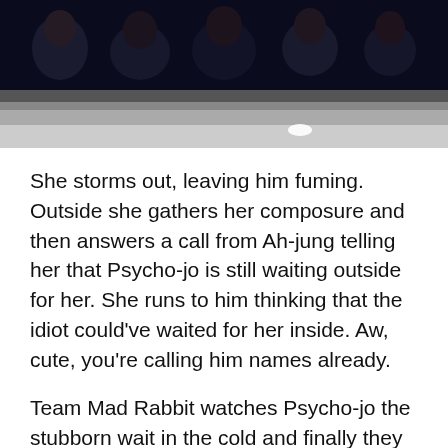[Figure (photo): A dark scene showing several people inside what appears to be a car or dimly lit interior. Multiple faces are visible. The lower portion transitions to a grey/white surface with a small bright light reflection.]
She storms out, leaving him fuming. Outside she gathers her composure and then answers a call from Ah-jung telling her that Psycho-jo is still waiting outside for her. She runs to him thinking that the idiot could've waited for her inside. Aw, cute, you're calling him names already.
Team Mad Rabbit watches Psycho-jo the stubborn wait in the cold and finally they introduce each other. Haha. I love how they're